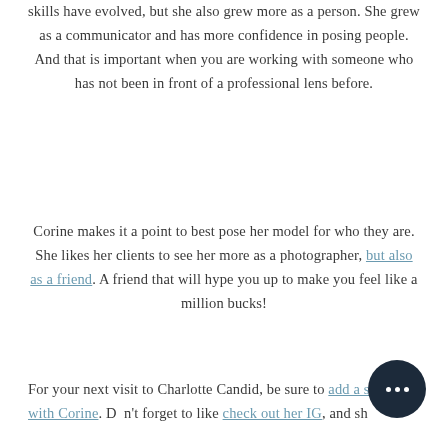skills have evolved, but she also grew more as a person. She grew as a communicator and has more confidence in posing people. And that is important when you are working with someone who has not been in front of a professional lens before.
Corine makes it a point to best pose her model for who they are. She likes her clients to see her more as a photographer, but also as a friend. A friend that will hype you up to make you feel like a million bucks!
For your next visit to Charlotte Candid, be sure to add a session with Corine. Don't forget to like check out her IG, and she...